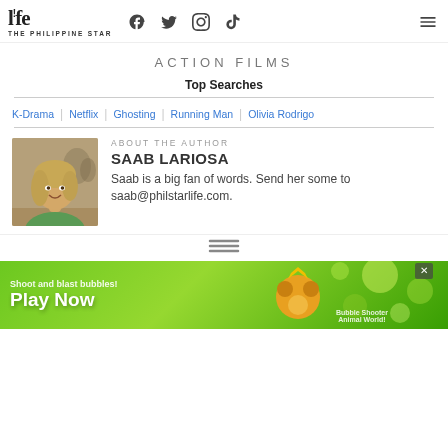life THE PHILIPPINE STAR — with social icons (Facebook, Twitter, Instagram, TikTok) and hamburger menu
ACTION FILMS
Top Searches
K-Drama | Netflix | Ghosting | Running Man | Olivia Rodrigo
ABOUT THE AUTHOR
SAAB LARIOSA
Saab is a big fan of words. Send her some to saab@philstarlife.com.
[Figure (photo): Photo of author Saab Lariosa, a young woman with light brown/blonde hair, sitting at a table indoors, smiling at camera, wearing a green tank top.]
[Figure (other): Advertisement banner — green background with 'Play Now' text and cartoon animal characters, promoting a Bubble Shooter game. Text reads: Shoot and blast bubbles! Play Now. Bubble Shooter Animal World!]